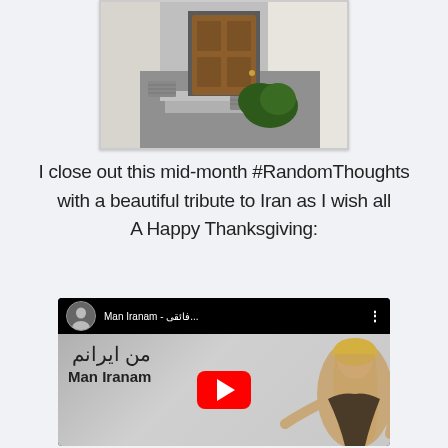[Figure (photo): Photo of a house entrance with a wooden door, concrete steps, a small hedge, and white stucco wall, shown with a white border/frame]
I close out this mid-month #RandomThoughts with a beautiful tribute to Iran as I wish all A Happy Thanksgiving:
[Figure (screenshot): YouTube video thumbnail for 'Man Iranam - من ایرانم' showing a woman with blonde hair posing, with Arabic/Persian text overlaid, a YouTube play button in the center, and a profile picture of a woman in the top-left corner.]